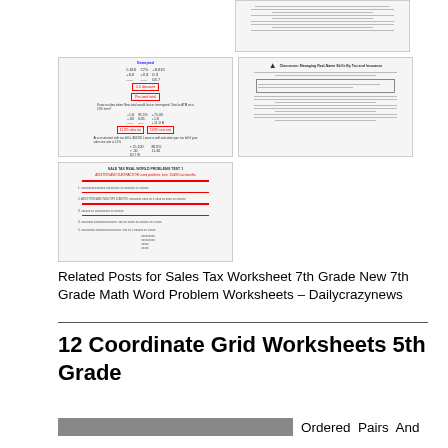[Figure (screenshot): Thumbnail of a worksheet with lines of text, top right portion of page]
[Figure (screenshot): Thumbnail of a math worksheet titled 'Exempted' with handwritten numbers and circled answers in red]
[Figure (screenshot): Thumbnail of a math worksheet with a triangle logo and text about 'Classroom: Managing Real-Name Skills By Tax and Insurance']
[Figure (screenshot): Thumbnail of a plain lined worksheet with numbered questions]
Related Posts for Sales Tax Worksheet 7th Grade New 7th Grade Math Word Problem Worksheets – Dailycrazynews
12 Coordinate Grid Worksheets 5th Grade
Ordered Pairs And